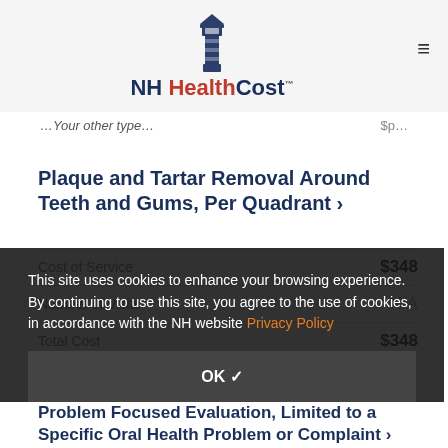NH HealthCost
...Your other type...  $p...
Plaque and Tartar Removal Around Teeth and Gums, Per Quadrant ›
|  |  |
| --- | --- |
| Cost of Service | $348 |
| Number of Visits | N/A |
| Total Cost | $348 |
This site uses cookies to enhance your browsing experience. By continuing to use this site, you agree to the use of cookies, in accordance with the NH website Privacy Policy
OK ✓
Problem Focused Evaluation, Limited to a Specific Oral Health Problem or Complaint ›